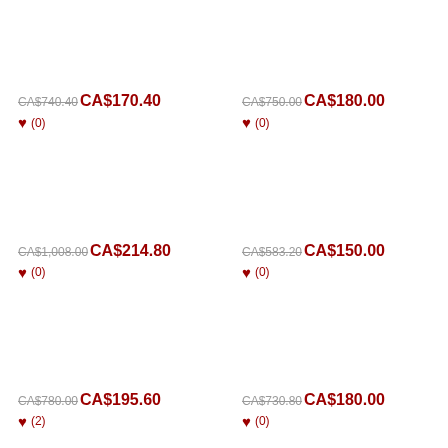CA$740.40 CA$170.40 ♥ (0)
CA$750.00 CA$180.00 ♥ (0)
CA$1,008.00 CA$214.80 ♥ (0)
CA$583.20 CA$150.00 ♥ (0)
CA$780.00 CA$195.60 ♥ (2)
CA$730.80 CA$180.00 ♥ (0)